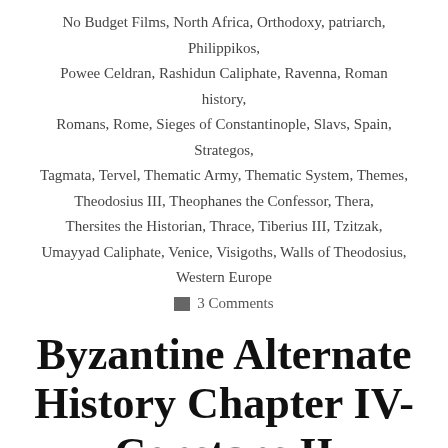No Budget Films, North Africa, Orthodoxy, patriarch, Philippikos, Powee Celdran, Rashidun Caliphate, Ravenna, Roman history, Romans, Rome, Sieges of Constantinople, Slavs, Spain, Strategos, Tagmata, Tervel, Thematic Army, Thematic System, Themes, Theodosius III, Theophanes the Confessor, Thera, Thersites the Historian, Thrace, Tiberius III, Tzitzak, Umayyad Caliphate, Venice, Visigoths, Walls of Theodosius, Western Europe
3 Comments
Byzantine Alternate History Chapter IV- Constans II Relocates the Imperial Capital to Sicily